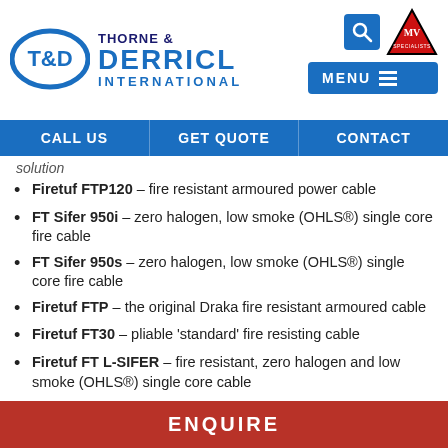[Figure (logo): Thorne & Derrick International logo with T&D oval emblem, search icon, MV Specialists triangle logo, and MENU button]
CALL US | GET QUOTE | CONTACT
solution
Firetuf FTP120 – fire resistant armoured power cable
FT Sifer 950i – zero halogen, low smoke (OHLS®) single core fire cable
FT Sifer 950s – zero halogen, low smoke (OHLS®) single core fire cable
Firetuf FTP – the original Draka fire resistant armoured cable
Firetuf FT30 – pliable 'standard' fire resisting cable
Firetuf FT L-SIFER – fire resistant, zero halogen and low smoke (OHLS®) single core cable
ENQUIRE